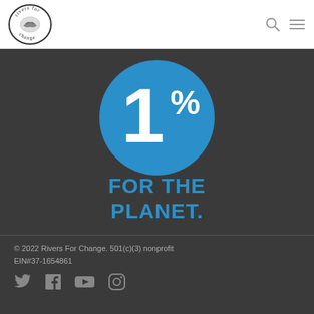[Figure (logo): Rivers For Change circular logo with hands and water, black and white oval badge]
[Figure (logo): 1% For The Planet logo — blue circle with '1%' text above 'FOR THE PLANET.' in bold blue text on dark background]
© 2022 Rivers For Change. 501(c)(3) nonprofit EIN#37-1654861
[Figure (infographic): Social media icons: Twitter, Facebook, YouTube, Instagram in gray on dark background]